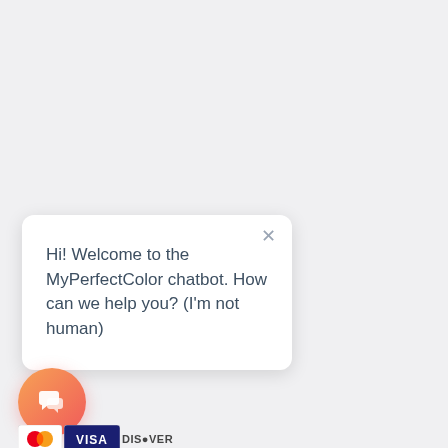[Figure (screenshot): Chatbot popup widget on a light grey background. A white rounded card shows the message 'Hi! Welcome to the MyPerfectColor chatbot. How can we help you? (I'm not human)' with an X close button. Below is an orange-to-coral circular chat icon button with speech bubble icons. At the bottom are partial payment method logos (Mastercard, Visa, Discover).]
Hi! Welcome to the MyPerfectColor chatbot. How can we help you? (I'm not human)